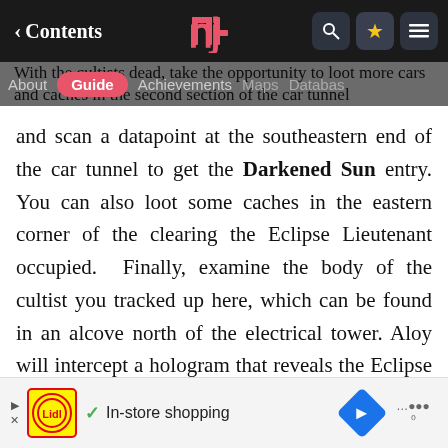Contents [back] | [logo] | [search] [star] [menu]
About | Guide | Achievements | Maps | Database
With the cultists dead, take the opportunity to loot more cars and caches in the second section of the car tunnel and scan a datapoint at the southeastern end of the car tunnel to get the Darkened Sun entry. You can also loot some caches in the eastern corner of the clearing the Eclipse Lieutenant occupied. Finally, examine the body of the cultist you tracked up here, which can be found in an alcove north of the electrical tower. Aloy will intercept a hologram that reveals the Eclipse threat isn't limited to this cell, and will take an Eclipse Mask to prove Conover's innocence.
Speaking of which, return to Barren Light at your leisure
[Figure (screenshot): Mobile advertisement banner: Lidl logo, checkmark, 'In-store shopping' text, blue navigation diamond icon, weather widget partial]